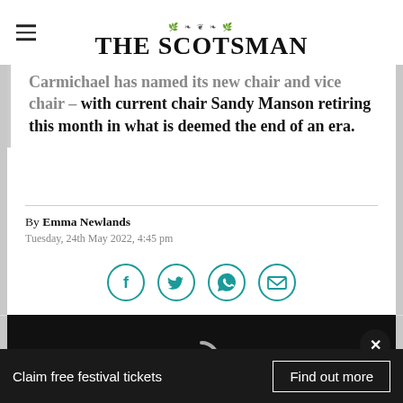THE SCOTSMAN
Carmichael has named its new chair and vice chair – with current chair Sandy Manson retiring this month in what is deemed the end of an era.
By Emma Newlands
Tuesday, 24th May 2022, 4:45 pm
[Figure (infographic): Social sharing icons: Facebook, Twitter, WhatsApp, Email — circular teal outlined buttons]
[Figure (photo): Dark video thumbnail with loading spinner arc visible]
Claim free festival tickets   Find out more